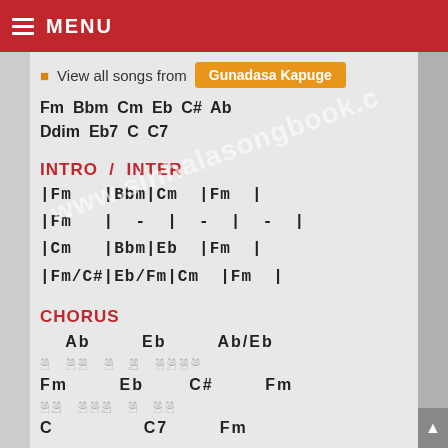MENU
View all songs from  Gunadasa Kapuge
Fm  Bbm  Cm  Eb  C#  Ab
Ddim  Eb7  C  C7
INTRO / INTER
| Fm    | Bbm | Cm    | Fm  |
| Fm    |  -  |  -    |  -  |
| Cm    | Bbm | Eb    | Fm  |
| Fm/C# | Eb/Fm | Cm  | Fm  |
CHORUS
Ab        Eb        Ab/Eb
Sinhala lyrics line 1
Fm        Eb        C#        Fm
Sinhala lyrics line 2
C                   C7        Fm